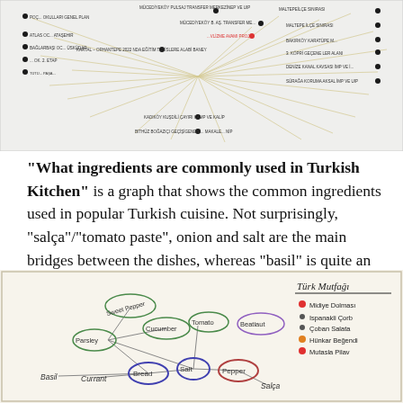[Figure (network-graph): Network graph showing connections between nodes labeled with Turkish place names and institution names, with lines radiating from central nodes.]
“What ingredients are commonly used in Turkish Kitchen” is a graph that shows the common ingredients used in popular Turkish cuisine. Not surprisingly, “salça”/“tomato paste”, onion and salt are the main bridges between the dishes, whereas “basil” is quite an outlier.
[Figure (network-graph): Hand-drawn network graph labeled 'Türk Mutfağı' (Turkish Kitchen) showing ingredients as nodes connected by lines. Nodes include: Sweet Pepper, Parsley, Cucumber, Tomato, Eggplant/Beatiaut, Basil, Currant, Bread, Salt, Pepper, Salca. Legend on right lists: Midye Dolması, Spinach Cord, Coban Salata, Hünkar Begendi, Mutasla Pilav with color dots.]